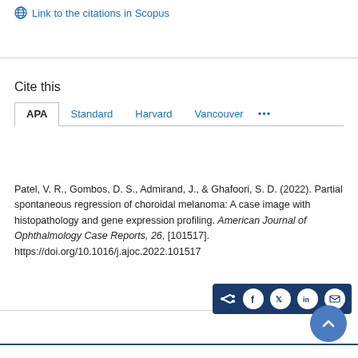Link to the citations in Scopus
Cite this
APA | Standard | Harvard | Vancouver | ...
Patel, V. R., Gombos, D. S., Admirand, J., & Ghafoori, S. D. (2022). Partial spontaneous regression of choroidal melanoma: A case image with histopathology and gene expression profiling. American Journal of Ophthalmology Case Reports, 26, [101517]. https://doi.org/10.1016/j.ajoc.2022.101517